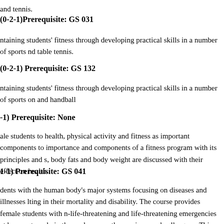and tennis.
(0-2-1)Prerequisite: GS 031
ntaining students' fitness through developing practical skills in a number of sports nd table tennis.
(0-2-1) Prerequisite: GS 132
ntaining students' fitness through developing practical skills in a number of sports on and handball
(-1) Prerequisite: None
ale students to health, physical activity and fitness as important components to importance and components of a fitness program with its principles and s, body fats and body weight are discussed with their effect on health.
(1-1) Prerequisite: GS 041
dents with the human body's major systems focusing on diseases and illnesses lting in their mortality and disability. The course provides female students with n-life-threatening and life-threatening emergencies at home, at work, in the r rules as mothers, wives, and colleagues. This includes First Aids, and Cardio pes of Infection, community common diseases including hypertension, diabetes,